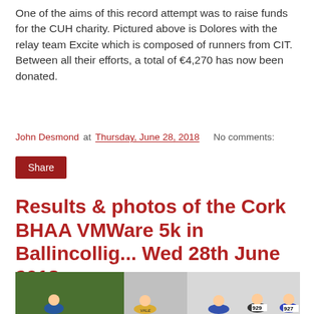One of the aims of this record attempt was to raise funds for the CUH charity. Pictured above is Dolores with the relay team Excite which is composed of runners from CIT. Between all their efforts, a total of €4,270 has now been donated.
John Desmond at Thursday, June 28, 2018   No comments:
Share
Results & photos of the Cork BHAA VMWare 5k in Ballincollig... Wed 28th June 2018
[Figure (photo): Runners competing in the Cork BHAA VMWare 5k race in Ballincollig, showing several runners in racing kit with bib numbers 929 and 927 visible.]